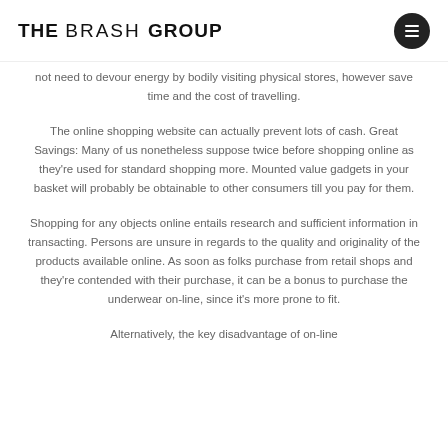THE BRASH GROUP
not need to devour energy by bodily visiting physical stores, however save time and the cost of travelling.
The online shopping website can actually prevent lots of cash. Great Savings: Many of us nonetheless suppose twice before shopping online as they're used for standard shopping more. Mounted value gadgets in your basket will probably be obtainable to other consumers till you pay for them.
Shopping for any objects online entails research and sufficient information in transacting. Persons are unsure in regards to the quality and originality of the products available online. As soon as folks purchase from retail shops and they're contended with their purchase, it can be a bonus to purchase the underwear on-line, since it's more prone to fit.
Alternatively, the key disadvantage of on-line